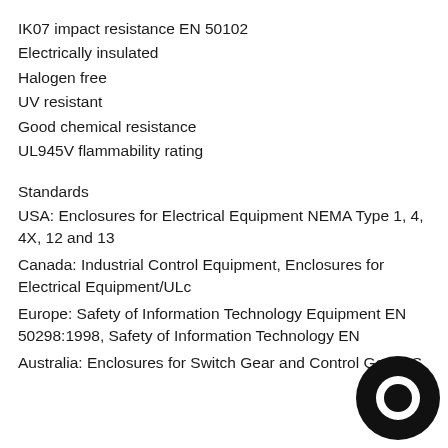IK07 impact resistance EN 50102
Electrically insulated
Halogen free
UV resistant
Good chemical resistance
UL945V flammability rating
Standards
USA: Enclosures for Electrical Equipment NEMA Type 1, 4, 4X, 12 and 13
Canada: Industrial Control Equipment, Enclosures for Electrical Equipment/ULc
Europe: Safety of Information Technology Equipment EN 50298:1998, Safety of Information Technology EN
Australia: Enclosures for Switch Gear and Control Gear AS
[Figure (logo): Circular black logo/watermark in bottom right corner]